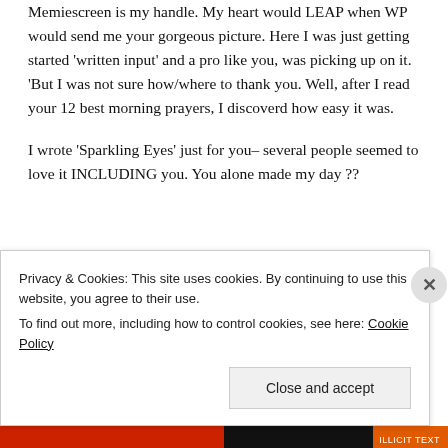Memiescreen is my handle. My heart would LEAP when WP would send me your gorgeous picture. Here I was just getting started 'written input' and a pro like you, was picking up on it. 'But I was not sure how/where to thank you. Well, after I read your 12 best morning prayers, I discoverd how easy it was.
I wrote 'Sparkling Eyes' just for you– several people seemed to love it INCLUDING you. You alone made my day ??
Privacy & Cookies: This site uses cookies. By continuing to use this website, you agree to their use. To find out more, including how to control cookies, see here: Cookie Policy